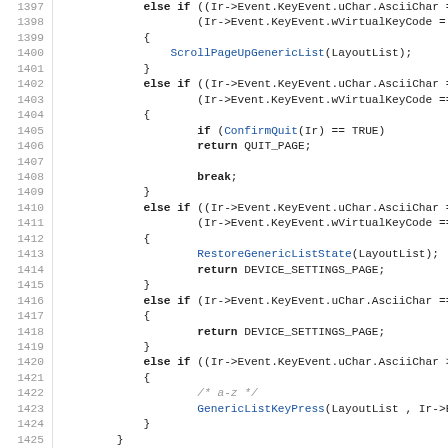[Figure (screenshot): Source code listing in C, lines 1397–1428, showing conditional key event handling with else-if branches for AsciiChar and wVirtualKeyCode, calling functions ScrollPageUpGenericList, ConfirmQuit, RestoreGenericListState, and GenericListKeyPress, returning various page constants.]